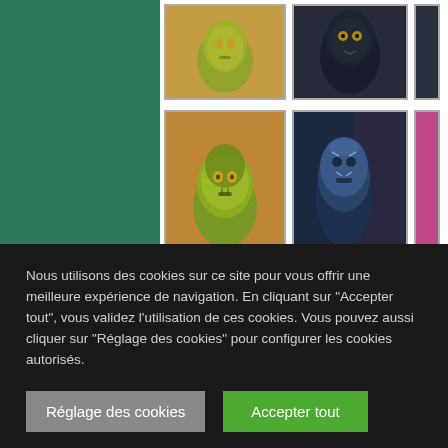[Figure (screenshot): Website gallery showing fantasy/game character artwork with masked creatures. Left side has dark teal/green panel. Gallery shows 6 thumbnail images of masked fantasy creatures in various styles - yellow-green masked creature, dark alien character, larger green masked creature, blue masked character, and two partially visible thumbnails at bottom.]
Nous utilisons des cookies sur ce site pour vous offrir une meilleure expérience de navigation. En cliquant sur "Accepter tout", vous validez l'utilisation de ces cookies. Vous pouvez aussi cliquer sur "Réglage des cookies" pour configurer les cookies autorisés.
Réglage des cookies
Accepter tout